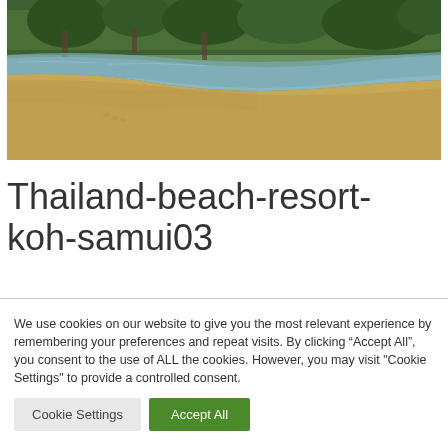[Figure (photo): A tropical beach scene in Koh Samui, Thailand, showing a curved sandy shoreline with calm turquoise water and lush green trees and vegetation in the background.]
Thailand-beach-resort-koh-samui03
We use cookies on our website to give you the most relevant experience by remembering your preferences and repeat visits. By clicking “Accept All”, you consent to the use of ALL the cookies. However, you may visit "Cookie Settings" to provide a controlled consent.